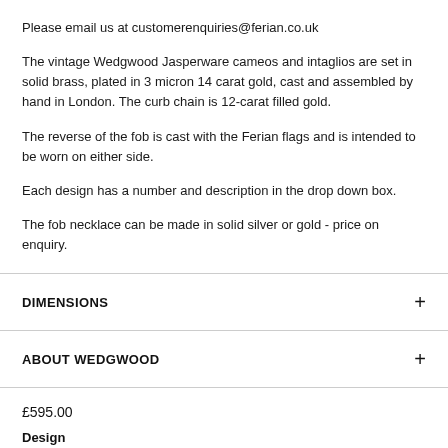Please email us at customerenquiries@ferian.co.uk
The vintage Wedgwood Jasperware cameos and intaglios are set in solid brass, plated in 3 micron 14 carat gold, cast and assembled by hand in London. The curb chain is 12-carat filled gold.
The reverse of the fob is cast with the Ferian flags and is intended to be worn on either side.
Each design has a number and description in the drop down box.
The fob necklace can be made in solid silver or gold - price on enquiry.
DIMENSIONS
ABOUT WEDGWOOD
£595.00
Design